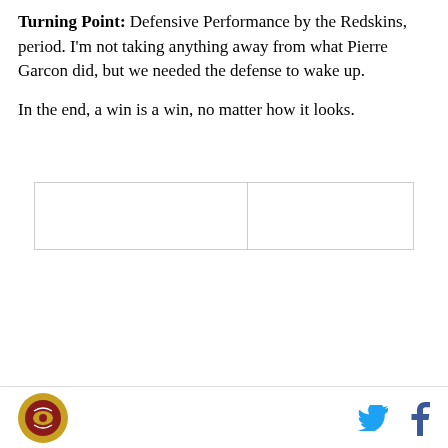Turning Point: Defensive Performance by the Redskins, period. I'm not taking anything away from what Pierre Garcon did, but we needed the defense to wake up.

In the end, a win is a win, no matter how it looks.
[Figure (other): DraftKings Sportsbook betting widget showing Terry McLaurin odds. 'Bet Now!' button on green header with DraftKings logo. Player: Terry McLaurin. To win MVP: +25000. To win Offensive Player of [Year]: +8000 (partially visible).]
Washington Football Team logo | Twitter icon | Facebook icon